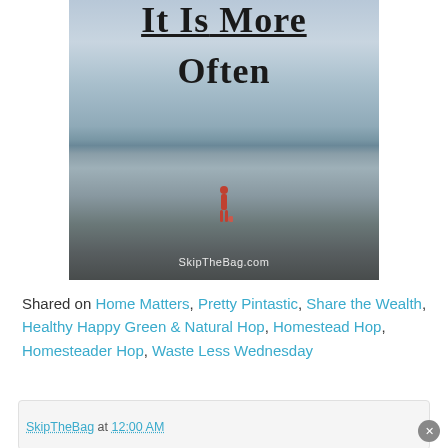[Figure (photo): Beach scene photo with person standing at water's edge. Overlaid text reads 'It Is More Often' in bold serif font with underline on 'It Is'. Website watermark 'SkipTheBag.com' at bottom.]
Shared on Home Matters, Pretty Pintastic, Share the Wealth, Healthy Happy Green & Natural Hop, Homestead Hop, Homesteader Hop, Waste Less Wednesday
SkipTheBag at 12:00 AM